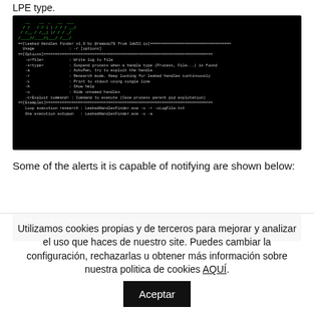LPE type.
[Figure (screenshot): Terminal screenshot showing LeakedHandlesFinder v1.0 tool usage and options menu with ASCII art logo]
Some of the alerts it is capable of notifying are shown below:
[Figure (screenshot): Terminal screenshot showing [PID 18656 MEDIUM_INTEGRITY RuntimeBroker.exe] alert with Date: 10:18:01 24-02-2022]
Utilizamos cookies propias y de terceros para mejorar y analizar el uso que haces de nuestro site. Puedes cambiar la configuración, rechazarlas u obtener más información sobre nuestra politica de cookies AQUÍ. Aceptar